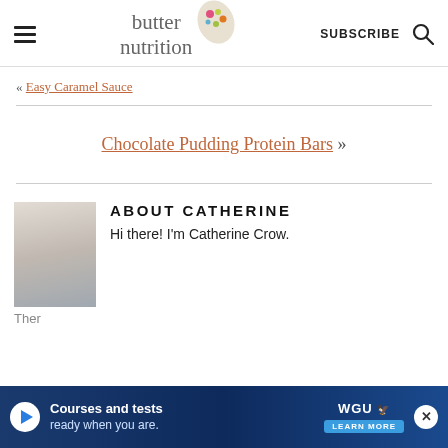butter nutrition — SUBSCRIBE
« Easy Caramel Sauce
Chocolate Pudding Protein Bars »
ABOUT CATHERINE
Hi there! I'm Catherine Crow.
Ther...
[Figure (photo): WGU advertisement banner: Courses and tests ready when you are. Learn More.]